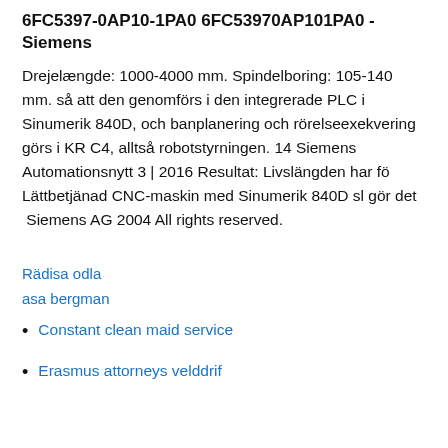6FC5397-0AP10-1PA0 6FC53970AP101PA0 - Siemens
Drejelængde: 1000-4000 mm. Spindelboring: 105-140 mm. så att den genomförs i den integrerade PLC i Sinumerik 840D, och banplanering och rörelseexekvering görs i KR C4, alltså robotstyrningen. 14 Siemens Automationsnytt 3 | 2016 Resultat: Livslängden har fö Lättbetjänad CNC-maskin med Sinumerik 840D sl gör det  Siemens AG 2004 All rights reserved.
Rädisa odla
asa bergman
Constant clean maid service
Erasmus attorneys velddrif